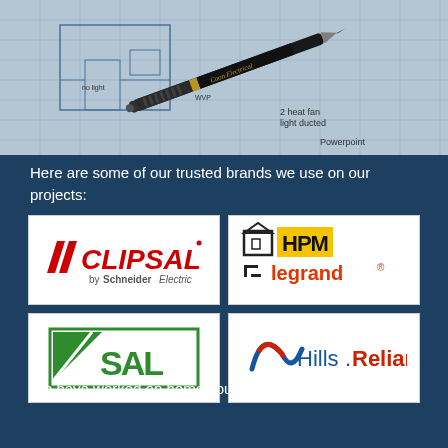[Figure (photo): Electrical pen/pencil resting on architectural/electrical blueprint drawings]
Here are some of our trusted brands we use on our projects:
[Figure (logo): CLIPSAL by Schneider Electric logo]
[Figure (logo): HPM legrand logo]
[Figure (logo): SAL logo]
[Figure (logo): Hills.Reliance logo]
We have worked on homes built by the following builders: